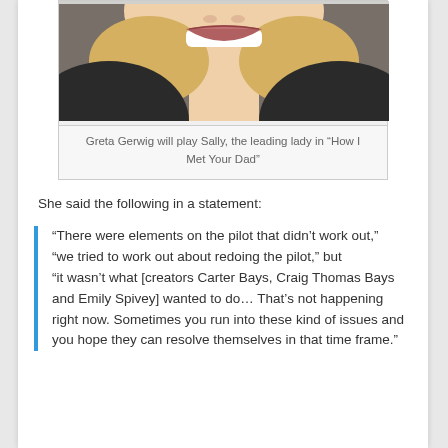[Figure (photo): Cropped photo of a blonde woman smiling, wearing a dark jacket, shown from chin/neck area up]
Greta Gerwig will play Sally, the leading lady in “How I Met Your Dad”
She said the following in a statement:
“There were elements on the pilot that didn’t work out,” “we tried to work out about redoing the pilot,” but “it wasn’t what [creators Carter Bays, Craig Thomas Bays and Emily Spivey] wanted to do… That’s not happening right now. Sometimes you run into these kind of issues and you hope they can resolve themselves in that time frame.”